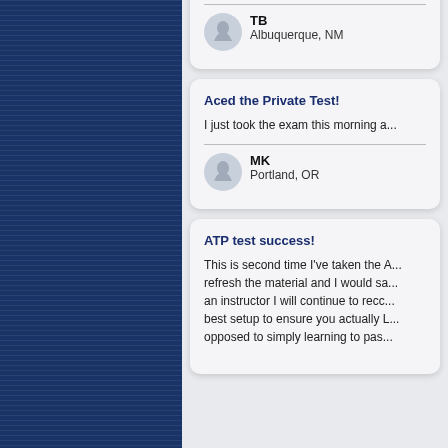[Figure (other): Dark blue left sidebar panel with horizontal line texture]
TB
Albuquerque, NM
Aced the Private Test!
I just took the exam this morning a...
MK
Portland, OR
ATP test success!
This is second time I've taken the A... refresh the material and I would sa... an instructor I will continue to recc... best setup to ensure you actually L... opposed to simply learning to pas...